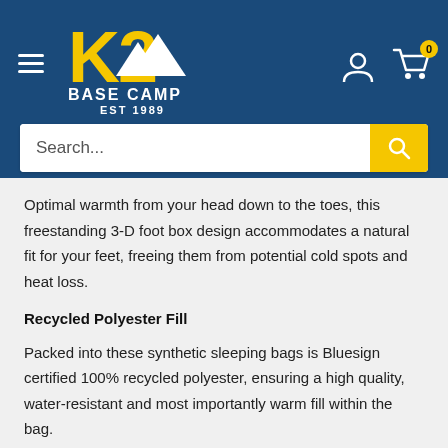K2 Base Camp EST 1989
Optimal warmth from your head down to the toes, this freestanding 3-D foot box design accommodates a natural fit for your feet, freeing them from potential cold spots and heat loss.
Recycled Polyester Fill
Packed into these synthetic sleeping bags is Bluesign certified 100% recycled polyester, ensuring a high quality, water-resistant and most importantly warm fill within the bag.